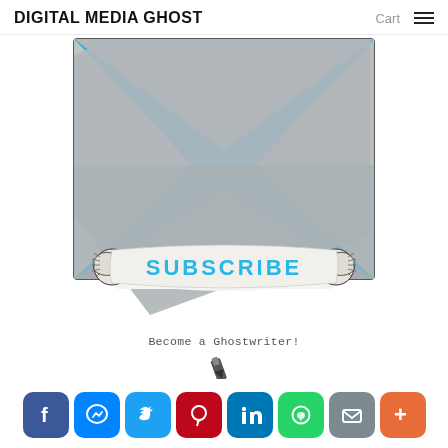DIGITAL MEDIA GHOST   Cart ≡
[Figure (illustration): An open envelope illustration with a light blue background and a gray envelope with flap open, overlaid with a decorative scroll banner reading 'SUBSCRIBE' in cyan/teal text. Scroll has ornate engraved-style decorative ends.]
Become a Ghostwriter!
[Figure (illustration): Partial view of a pen/pencil at the bottom of the image area]
[Figure (infographic): Social sharing bar with 8 icon buttons: Facebook (blue), Messenger (bright blue), Twitter (light blue), Pinterest (red), LinkedIn (dark blue), WhatsApp (green), Email (gray), More/Plus (orange-red)]